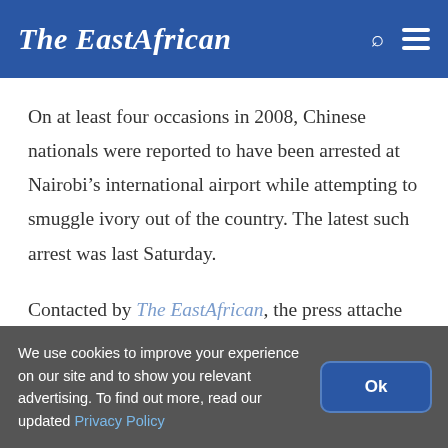The EastAfrican
On at least four occasions in 2008, Chinese nationals were reported to have been arrested at Nairobi’s international airport while attempting to smuggle ivory out of the country. The latest such arrest was last Saturday.

Contacted by The EastAfrican, the press attache at the Embassy of China in Nairobi, Liu Bo,
We use cookies to improve your experience on our site and to show you relevant advertising. To find out more, read our updated Privacy Policy